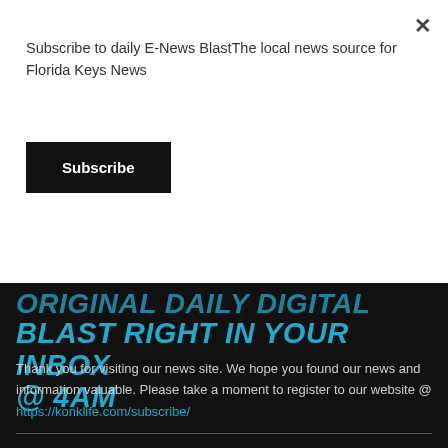Subscribe to daily E-News BlastThe local news source for Florida Keys News
Subscribe
ORIGINAL DAILY DIGITAL BLAST RIGHT IN YOUR INBOX @ 4AM
Thank you for visiting our news site. We hope you found our news and information valuable. Please take a moment to register to our website @ https://konklife.com/subscribe/